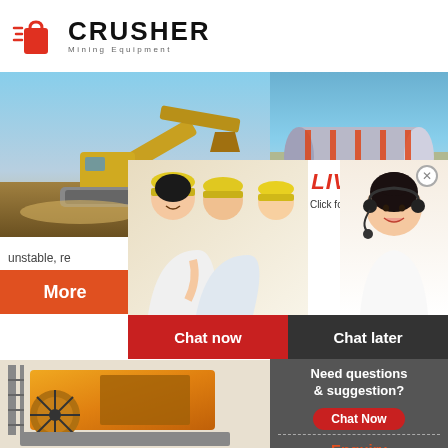[Figure (logo): Crusher Mining Equipment logo with red shopping bag icon and bold CRUSHER text]
[Figure (photo): Yellow mining excavator/crusher machine at a quarry site]
[Figure (photo): Large industrial cylinder/drum on a transport truck, 24Hrs Online badge overlay]
unstable, re
[Figure (photo): Live Chat popup overlay showing workers in hard hats and female operator with headset. Text: LIVE CHAT, Click for a Free Consultation. Buttons: Chat now, Chat later]
More
[Figure (photo): Yellow jaw crusher machine]
[Figure (photo): Blue industrial ball mill machine]
Need questions & suggestion?
Chat Now
Enquiry
mumumugoods@gmail.com